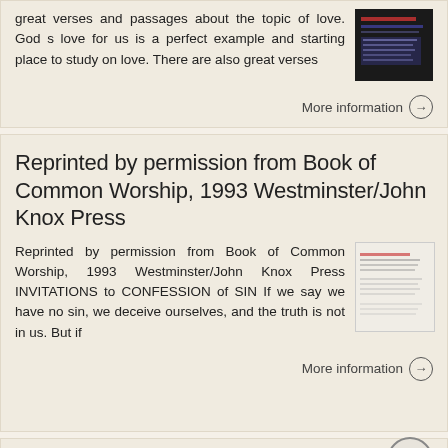great verses and passages about the topic of love. God s love for us is a perfect example and starting place to study on love. There are also great verses
More information →
Reprinted by permission from Book of Common Worship, 1993 Westminster/John Knox Press
Reprinted by permission from Book of Common Worship, 1993 Westminster/John Knox Press INVITATIONS to CONFESSION of SIN If we say we have no sin, we deceive ourselves, and the truth is not in us. But if
More information →
God s Mission for My Life: Rick Warren: